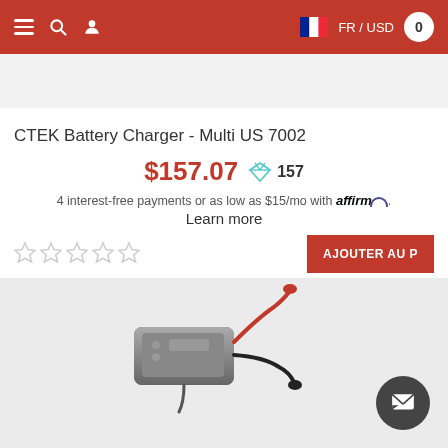≡ 🔍 👤  FR / USD  0
CTEK Battery Charger - Multi US 7002
$157.07  157
4 interest-free payments or as low as $15/mo with affirm.
Learn more
[Figure (photo): CTEK Battery Charger product photo showing charger unit with red and black clamp cables]